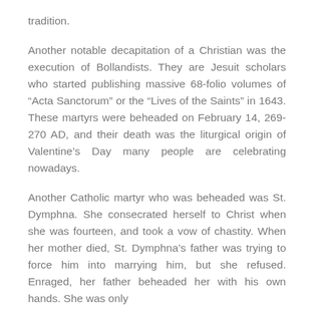tradition.
Another notable decapitation of a Christian was the execution of Bollandists. They are Jesuit scholars who started publishing massive 68-folio volumes of “Acta Sanctorum” or the “Lives of the Saints” in 1643. These martyrs were beheaded on February 14, 269-270 AD, and their death was the liturgical origin of Valentine’s Day many people are celebrating nowadays.
Another Catholic martyr who was beheaded was St. Dymphna. She consecrated herself to Christ when she was fourteen, and took a vow of chastity. When her mother died, St. Dymphna’s father was trying to force him into marrying him, but she refused. Enraged, her father beheaded her with his own hands. She was only